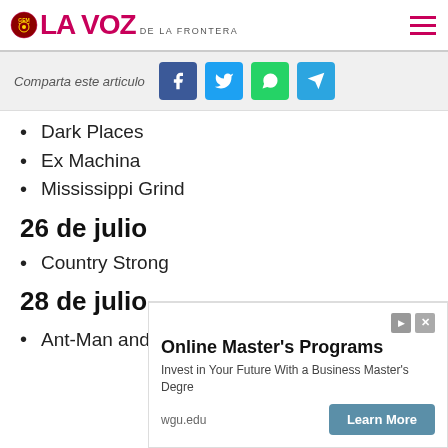LA VOZ DE LA FRONTERA
Comparta este articulo
Dark Places
Ex Machina
Mississippi Grind
26 de julio
Country Strong
28 de julio
Ant-Man and the Wasp
[Figure (screenshot): Advertisement for Online Master's Programs from wgu.edu with Learn More button]